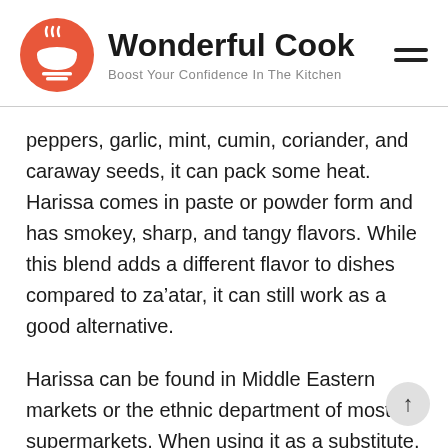[Figure (logo): Wonderful Cook website header with orange circular logo (bowl with steam and chopsticks), site title 'Wonderful Cook', tagline 'Boost Your Confidence In The Kitchen', and hamburger menu icon]
peppers, garlic, mint, cumin, coriander, and caraway seeds, it can pack some heat. Harissa comes in paste or powder form and has smokey, sharp, and tangy flavors. While this blend adds a different flavor to dishes compared to za’atar, it can still work as a good alternative.
Harissa can be found in Middle Eastern markets or the ethnic department of most supermarkets. When using it as a substitute, keep in mind that it co…s chili peppers, which can make meals spicy, so start